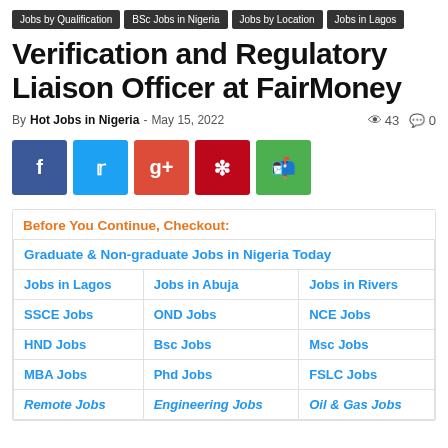Jobs by Qualification | BSc Jobs in Nigeria | Jobs by Location | Jobs in Lagos
Verification and Regulatory Liaison Officer at FairMoney
By Hot Jobs in Nigeria - May 15, 2022   43   0
[Figure (other): Social share buttons: Facebook, Twitter, Google+, Pinterest, WhatsApp]
| Before You Continue, Checkout: |
| Graduate & Non-graduate Jobs in Nigeria Today |
| Jobs in Lagos | Jobs in Abuja | Jobs in Rivers |
| SSCE Jobs | OND Jobs | NCE Jobs |
| HND Jobs | Bsc Jobs | Msc Jobs |
| MBA Jobs | Phd Jobs | FSLC Jobs |
| Remote Jobs | Engineering Jobs | Oil & Gas Jobs |